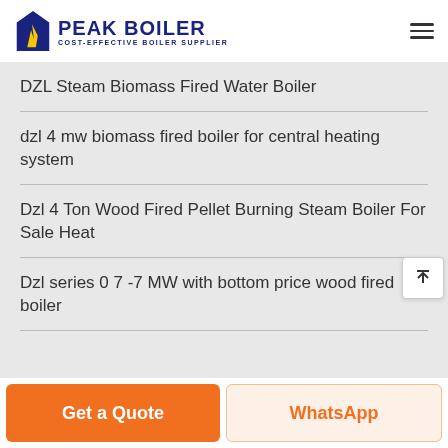[Figure (logo): Peak Boiler logo with stylized flame/house icon and text 'PEAK BOILER COST-EFFECTIVE BOILER SUPPLIER']
DZL Steam Biomass Fired Water Boiler
dzl 4 mw biomass fired boiler for central heating system
Dzl 4 Ton Wood Fired Pellet Burning Steam Boiler For Sale Heat
Dzl series 0 7 -7 MW with bottom price wood fired boiler
Get a Quote
WhatsApp